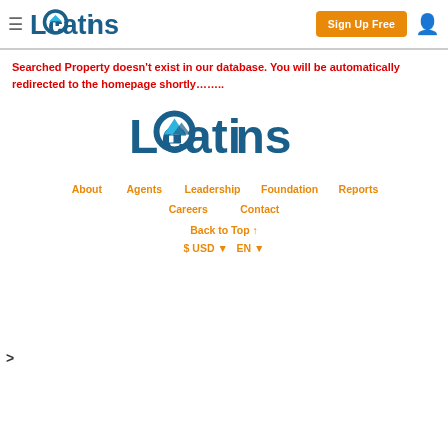Locations — Sign Up Free
Searched Property doesn't exist in our database. You will be automatically redirected to the homepage shortly.......
[Figure (logo): Locations real estate logo — large centered version with house/mountain icon inside the letter O]
About
Agents
Leadership
Foundation
Reports
Careers
Contact
Back to Top ↑
$ USD ▾   EN ▾
>